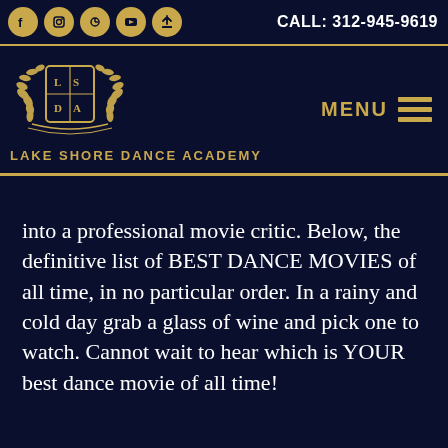CALL: 312-945-9619
[Figure (logo): Lake Shore Dance Academy logo with gold emblem and text]
into a professional movie critic. Below, the definitive list of BEST DANCE MOVIES of all time, in no particular order. In a rainy and cold day grab a glass of wine and pick one to watch. Cannot wait to hear which is YOUR best dance movie of all time!